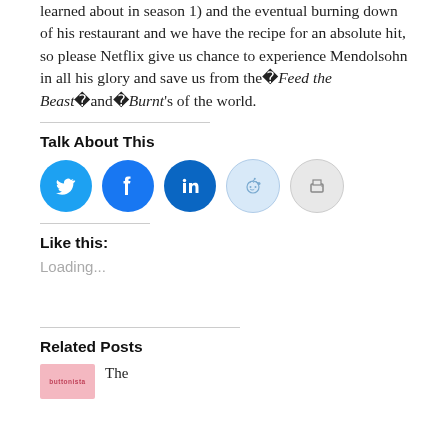learned about in season 1) and the eventual burning down of his restaurant and we have the recipe for an absolute hit, so please Netflix give us chance to experience Mendolsohn in all his glory and save us from the�Feed the Beast�and�Burnt's of the world.
Talk About This
[Figure (infographic): Social sharing icons: Twitter (cyan), Facebook (blue), LinkedIn (dark blue), Reddit (light blue), Print (light gray)]
Like this:
Loading...
Related Posts
[Figure (infographic): Pink thumbnail placeholder with 'buttonista' text label and 'The' text beginning of a related post title]